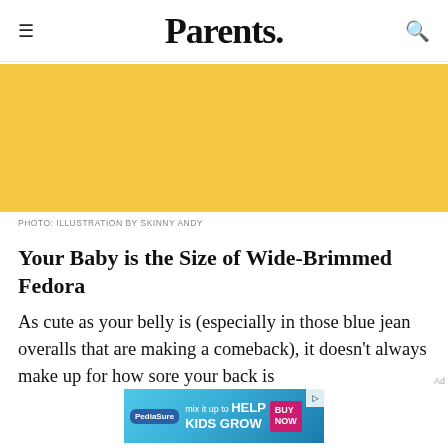Parents.
[Figure (illustration): Yellow/golden illustrated image placeholder, illustration by Skinny Andy]
PHOTO: ILLUSTRATION BY SKINNY ANDY
Your Baby is the Size of Wide-Brimmed Fedora
As cute as your belly is (especially in those blue jean overalls that are making a comeback), it doesn't always make up for how sore your back is
[Figure (photo): PediaSure advertisement banner: mix it up to HELP KIDS GROW, BUY NOW]